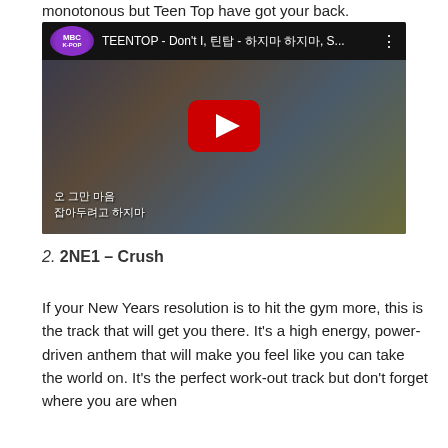monotonous but Teen Top have got your back.
[Figure (screenshot): YouTube video thumbnail for TEENTOP - Don't I, shown on MBC K-POP channel. A Korean male performer in a black leather jacket holding a microphone is visible, with Korean lyrics subtitled at the bottom. A large red YouTube play button is centered on the image.]
2. 2NE1 – Crush
If your New Years resolution is to hit the gym more, this is the track that will get you there. It's a high energy, power-driven anthem that will make you feel like you can take the world on. It's the perfect work-out track but don't forget where you are when